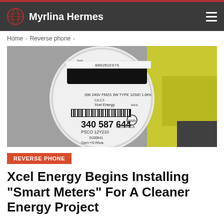Myrlina Hermes
Home > Reverse phone >
[Figure (photo): Close-up photo of an Xcel Energy smart electric meter with serial number 0002B1E978, showing 340 587 644, PSCO 12Y210, FM2S 3W TYPE 12SID 1.0Kh, 200 240V, with a worker in a yellow high-visibility vest in the background.]
REVERSE PHONE
Xcel Energy Begins Installing “Smart Meters” For A Cleaner Energy Project